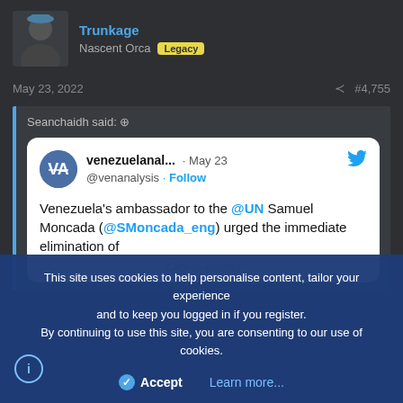Trunkage
Nascent Orca Legacy
May 23, 2022  #4,755
Seanchaidh said:
[Figure (screenshot): Embedded tweet from venezuelanal... (@venanalysis) dated May 23, stating: Venezuela's ambassador to the @UN Samuel Moncada (@SMoncada_eng) urged the immediate elimination of [truncated]. Shows Follow button and Twitter bird logo.]
Click to expand
This site uses cookies to help personalise content, tailor your experience and to keep you logged in if you register. By continuing to use this site, you are consenting to our use of cookies.
Accept  Learn more...